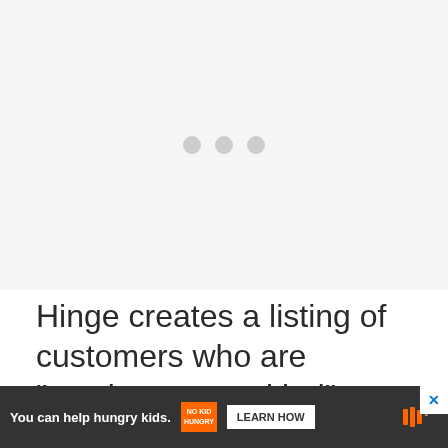[Figure (other): Loading placeholder area with three grey dots centered on a light grey background]
Hinge creates a listing of customers who are “maximum your kind” every day based totally on how they responded to their pr
[Figure (other): Advertisement banner: orange background with text 'You can help hungry kids.' No Kid Hungry logo and 'LEARN HOW' button, with close X button and brand icon on right]